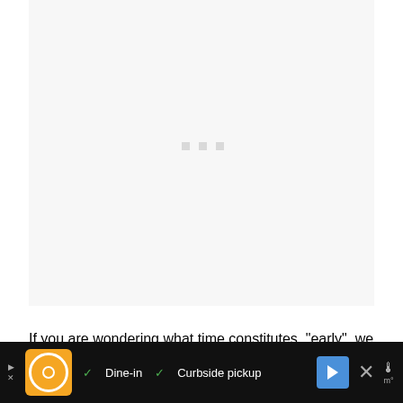[Figure (other): A light grey/white rectangular loading placeholder box with three small grey dots in the center, indicating a loading state]
If you are wondering what time constitutes, "early", we are talking about s
[Figure (other): Advertisement bar at bottom: orange restaurant ad icon with Dine-in and Curbside pickup checkmarks, navigation arrow icon, close X button, and weather icon]